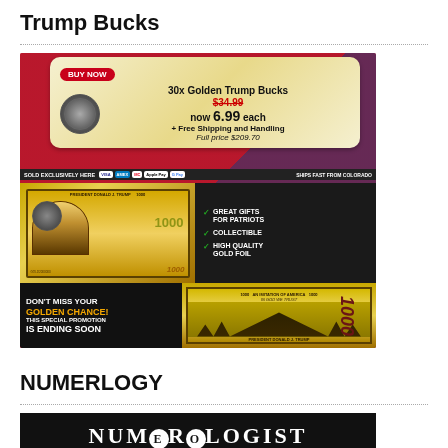Trump Bucks
[Figure (photo): Advertisement image for '30x Golden Trump Bucks' showing gold foil novelty banknotes with Trump's image. Text shows original price $34.99 crossed out, now $6.99 each + Free Shipping and Handling, Full price $209.70. Payment icons visible (Visa, Amex, Mastercard, Apple Pay, G Pay). Features listed: Great Gifts For Patriots, Collectible, High Quality Gold Foil. Bottom left text: DON'T MISS YOUR GOLDEN CHANCE! THIS SPECIAL PROMOTION IS ENDING SOON]
NUMERLOGY